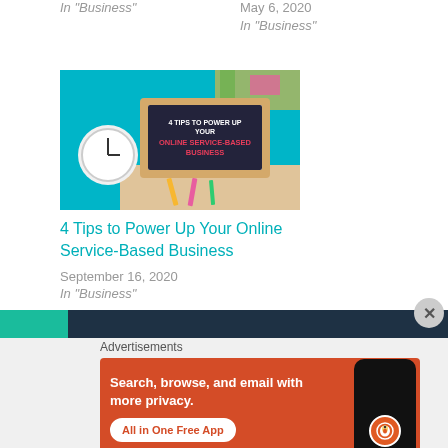In "Business"
May 6, 2020
In "Business"
[Figure (illustration): Blog post thumbnail with teal background showing a laptop screen with text '4 TIPS TO POWER UP YOUR ONLINE SERVICE-BASED BUSINESS', a clock, and colorful stationery items]
4 Tips to Power Up Your Online Service-Based Business
September 16, 2020
In "Business"
[Figure (screenshot): DuckDuckGo advertisement banner with orange background. Text reads: Search, browse, and email with more privacy. All in One Free App. Shows a phone with DuckDuckGo logo.]